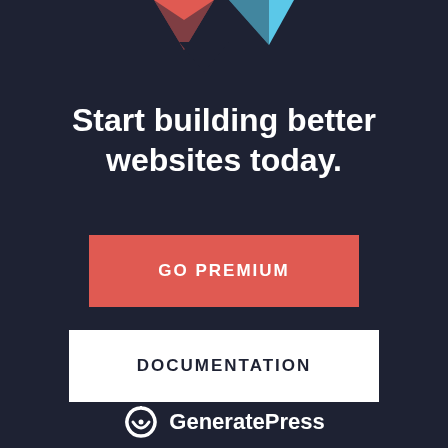[Figure (logo): GeneratePress logo graphic — dark navy background with geometric shapes: a red/pink downward-pointing triangle on the left, a cyan/light-blue triangle pointing up-left on the right, and a dark navy arrow shape in the center bottom]
Start building better websites today.
GO PREMIUM
DOCUMENTATION
[Figure (logo): GeneratePress logo icon — circular arc icon resembling headphones or a location pin in white]
GeneratePress